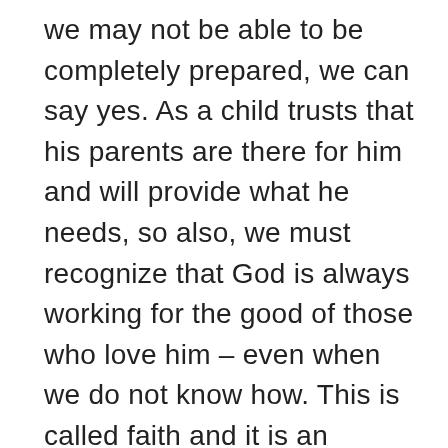we may not be able to be completely prepared, we can say yes. As a child trusts that his parents are there for him and will provide what he needs, so also, we must recognize that God is always working for the good of those who love him – even when we do not know how. This is called faith and it is an essential aspect, perhaps the most fundamental aspect of our waiting as Christians. Together moved by our faith we joyfully